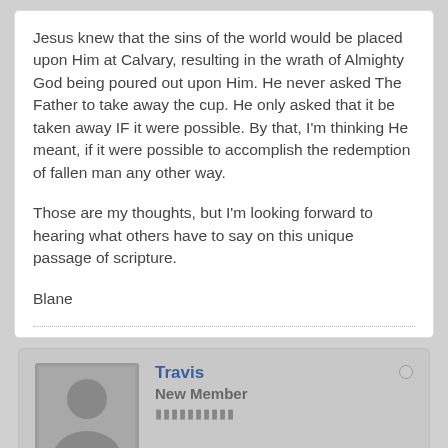Jesus knew that the sins of the world would be placed upon Him at Calvary, resulting in the wrath of Almighty God being poured out upon Him. He never asked The Father to take away the cup. He only asked that it be taken away IF it were possible. By that, I'm thinking He meant, if it were possible to accomplish the redemption of fallen man any other way.

Those are my thoughts, but I'm looking forward to hearing what others have to say on this unique passage of scripture.

Blane
Travis
New Member
Join Date: Jul 2014  Posts: 0